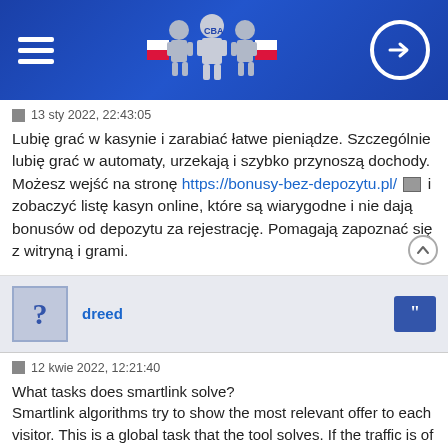[Figure (screenshot): Website header with blue gradient background, hamburger menu icon on left, robot/CBA logo in center with Polish flag colors, login button on right]
13 sty 2022, 22:43:05
Lubię grać w kasynie i zarabiać łatwe pieniądze. Szczególnie lubię grać w automaty, urzekają i szybko przynoszą dochody. Możesz wejść na stronę https://bonusy-bez-depozytu.pl/ i zobaczyć listę kasyn online, które są wiarygodne i nie dają bonusów od depozytu za rejestrację. Pomagają zapoznać się z witryną i grami.
dreed
12 kwie 2022, 12:21:40
What tasks does smartlink solve?
Smartlink algorithms try to show the most relevant offer to each visitor. This is a global task that the tool solves. If the traffic is of normal quality and suitable offers are unrolled in the system, the effectiveness of this approach will be high.

<a href=https://www.imonetizeit.com/">iMonetizeit</a> saves webmasters and affiliates from the routine work of manual A/B testing and endless optimization of advertising campaigns. All you need is a budget fo